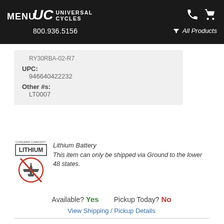MENU | UC Universal Cycles | 800.936.5156 | All Products
RY30RBA-02-R7
UPC:
946640422232
Other #s:
LT0007
[Figure (logo): Lithium Consumer Commodity hazmat label showing LITHIUM box and airplane-with-prohibited-symbol icon]
Lithium Battery
This item can only be shipped via Ground to the lower 48 states.
Available? Yes   Pickup Today? No
View Shipping / Pickup Details
Categories with this Product...
Lighting Systems
Lighting Systems > Headlights
Lighting Systems > Headlights > Nite Ize Headlights
Lighting Systems > Rechargeable Systems